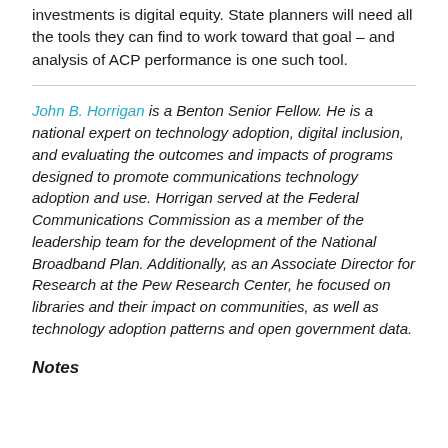investments is digital equity. State planners will need all the tools they can find to work toward that goal – and analysis of ACP performance is one such tool.
John B. Horrigan is a Benton Senior Fellow. He is a national expert on technology adoption, digital inclusion, and evaluating the outcomes and impacts of programs designed to promote communications technology adoption and use. Horrigan served at the Federal Communications Commission as a member of the leadership team for the development of the National Broadband Plan. Additionally, as an Associate Director for Research at the Pew Research Center, he focused on libraries and their impact on communities, as well as technology adoption patterns and open government data.
Notes